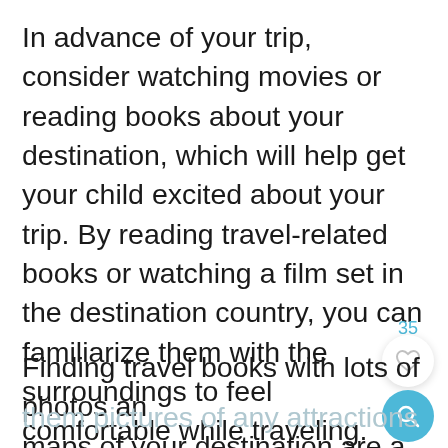In advance of your trip, consider watching movies or reading books about your destination, which will help get your child excited about your trip. By reading travel-related books or watching a film set in the destination country, you can familiarize them with the surroundings to feel comfortable while traveling.
Finding travel books with lots of photos and maps of your destination are a great way to get your kids excited. Pack a map and talk about your itinerary with your child, showing them pictures of any attractions or adventures you have planned.